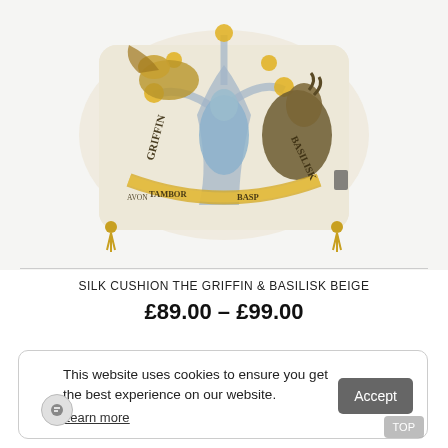[Figure (photo): A decorative silk cushion with mythical creatures (griffin and basilisk) and a tree design in blue, gold, and beige tones with gold tassels at the corners.]
SILK CUSHION THE GRIFFIN & BASILISK BEIGE
£89.00 – £99.00
This website uses cookies to ensure you get the best experience on our website. Learn more  Accept